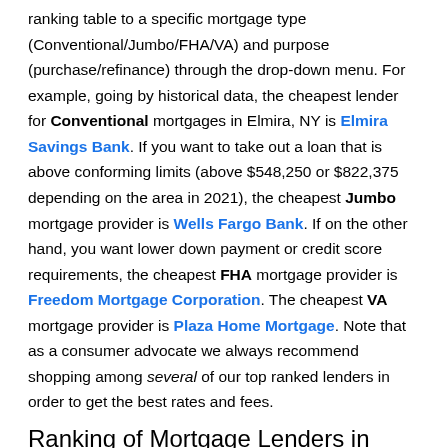ranking table to a specific mortgage type (Conventional/Jumbo/FHA/VA) and purpose (purchase/refinance) through the drop-down menu. For example, going by historical data, the cheapest lender for Conventional mortgages in Elmira, NY is Elmira Savings Bank. If you want to take out a loan that is above conforming limits (above $548,250 or $822,375 depending on the area in 2021), the cheapest Jumbo mortgage provider is Wells Fargo Bank. If on the other hand, you want lower down payment or credit score requirements, the cheapest FHA mortgage provider is Freedom Mortgage Corporation. The cheapest VA mortgage provider is Plaza Home Mortgage. Note that as a consumer advocate we always recommend shopping among several of our top ranked lenders in order to get the best rates and fees.
Ranking of Mortgage Lenders in Elmira, NY
Mortgage Type:    Purchase/Refinance: